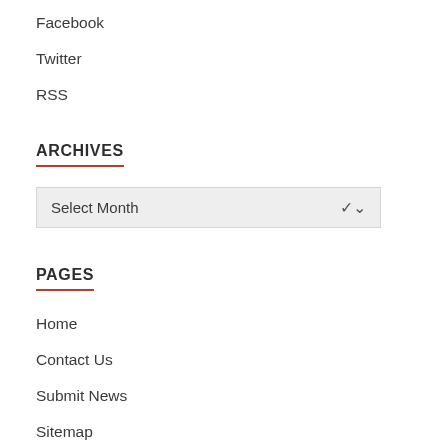Facebook
Twitter
RSS
ARCHIVES
Select Month
PAGES
Home
Contact Us
Submit News
Sitemap